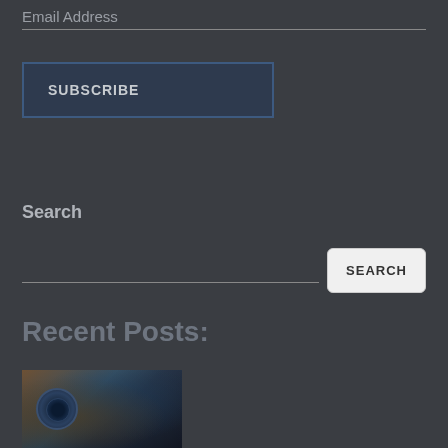Email Address
SUBSCRIBE
Search
SEARCH
Recent Posts:
[Figure (photo): A photo of a camera or scope/optics equipment with a lens visible, dark background with brown and blue tones]